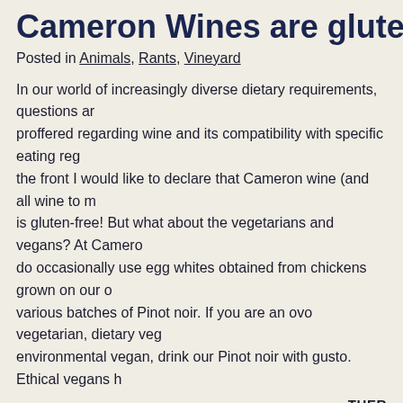Cameron Wines are gluten f
Posted in Animals, Rants, Vineyard
In our world of increasingly diverse dietary requirements, questions ar proffered regarding wine and its compatibility with specific eating reg the front I would like to declare that Cameron wine (and all wine to m is gluten-free! But what about the vegetarians and vegans? At Camero do occasionally use egg whites obtained from chickens grown on our e various batches of Pinot noir. If you are an ovo vegetarian, dietary veg environmental vegan, drink our Pinot noir with gusto. Ethical vegans h
THER
Winter at Cameron
Posted in Animals, Rants, Senesence
The dawn of the new year at Cameron finds white fermentations still e existence and Pinot noir slumbering in the barrel and dreaming of spr